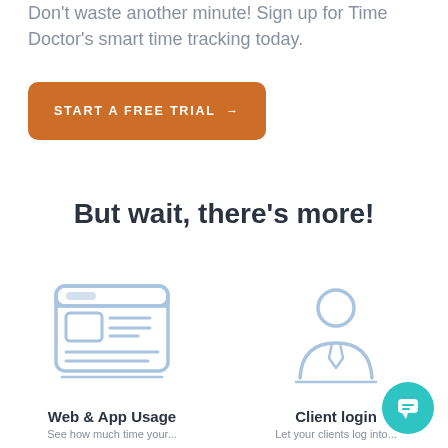Don't waste another minute! Sign up for Time Doctor's smart time tracking today.
[Figure (other): Orange rounded button with white uppercase text 'START A FREE TRIAL' and a right arrow]
But wait, there's more!
[Figure (illustration): Light blue outline icon of a web browser/dashboard interface with a rectangle and horizontal lines]
Web & App Usage
See how much time your...
[Figure (illustration): Light blue outline icon of a person with a tie (client/user silhouette)]
Client login
Let your clients log into...